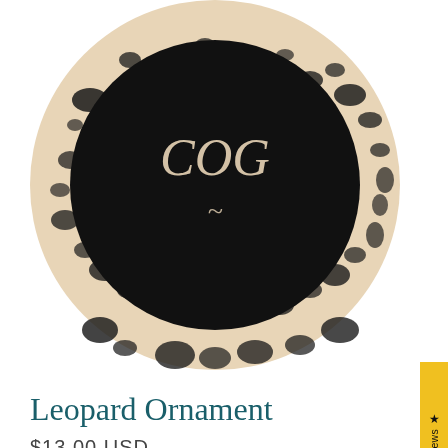[Figure (photo): Circular leopard print ornament with black border and decorative script text in the center, cropped showing bottom portion of the circle]
Leopard Ornament
$13.00 USD
or 4 interest-free payments of $3.25 USD with Sezzle
Pay in + interest-free installments for orders over $50 with shop Pay  Learn more
Quantity